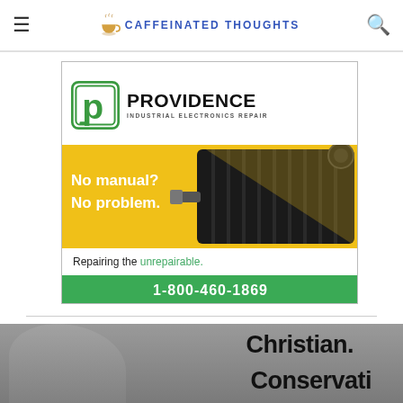CAFFEINATED THOUGHTS
[Figure (advertisement): Providence Industrial Electronics Repair advertisement. Green P logo. Text: 'No manual? No problem. Repairing the unrepairable. 1-800-460-1869'. Shows industrial servo motor on yellow/black background.]
[Figure (photo): Partial grayscale photo of a person with bold text overlay reading 'Christian.' and partial text below it (cut off).]